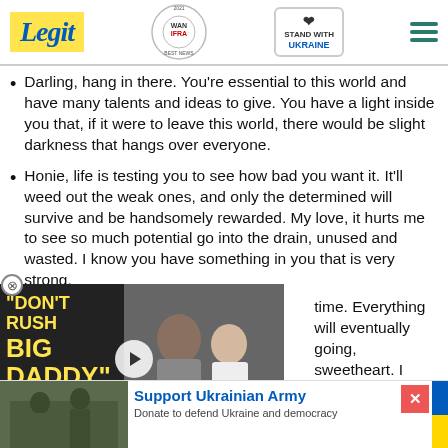Legit | WAN IFRA 2021 Best News Website in Africa | Stand With Ukraine
Darling, hang in there. You're essential to this world and have many talents and ideas to give. You have a light inside you that, if it were to leave this world, there would be slight darkness that hangs over everyone.
Honie, life is testing you to see how bad you want it. It'll weed out the weak ones, and only the determined will survive and be handsomely rewarded. My love, it hurts me to see so much potential go into the drain, unused and wasted. I know you have something in you that is very strong.
[Figure (screenshot): Video ad overlay with 'DON'T RUSH BIG DADDY' text on dark background with play button and photo of two people]
time. Everything will eventually going, sweetheart. I know you I can't give them to you. I'm with this.
Christian Larson, and I hope your life, promise yourself
[Figure (photo): Support Ukrainian Army advertisement banner with soldiers image, blue and yellow flag colors, and text: Support Ukrainian Army - Donate to defend Ukraine and democracy]